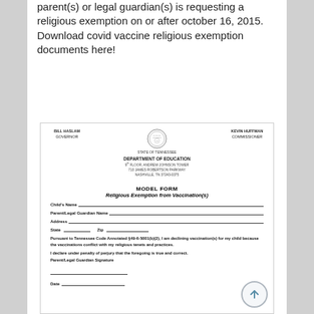parent(s) or legal guardian(s) is requesting a religious exemption on or after october 16, 2015. Download covid vaccine religious exemption documents here!
[Figure (other): Tennessee Department of Education official circular seal]
STATE OF TENNESSEE
DEPARTMENT OF EDUCATION
9th FLOOR, ANDREW JOHNSON TOWER
710 JAMES ROBERTSON PARKWAY
NASHVILLE, TN 37243-0375
BILL HASLAM
GOVERNOR
KEVIN HUFFMAN
COMMISSIONER
MODEL FORM
Religious Exemption from Vaccination(s)
Child's Name
Parent/Legal Guardian Name
Address
State          Zip
Pursuant to Tennessee Code Annotated §49-6-5001(b)(2), I am declining vaccination(s) for my child because the vaccinations conflict with my religious tenets and practices.
I declare under penalty of perjury that the foregoing is true and correct.
Parent/Legal Guardian Signature
Date